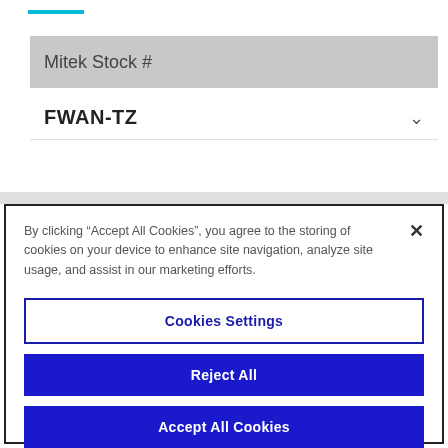Mitek Stock #
FWAN-TZ
By clicking “Accept All Cookies”, you agree to the storing of cookies on your device to enhance site navigation, analyze site usage, and assist in our marketing efforts.
Cookies Settings
Reject All
Accept All Cookies